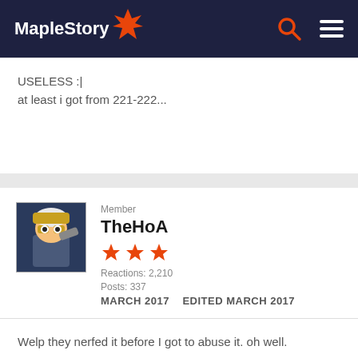MapleStory
USELESS :|
at least i got from 221-222...
Member
TheHoA
Reactions: 2,210
Posts: 337
MARCH 2017   EDITED MARCH 2017
Welp they nerfed it before I got to abuse it. oh well.